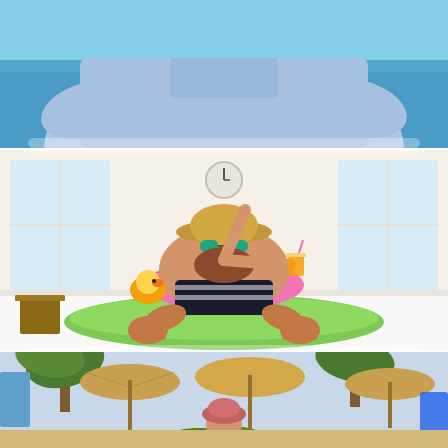[Figure (photo): Cropped photo showing a person in light blue denim shirt with a blue ocean/water background visible behind them. Only torso and arms visible.]
[Figure (photo): Humorous photo of a heavyset bearded man wearing a straw hat, sunglasses, and striped swimwear, sitting on a white hotel bed with inflatable pool floats (pink ring, green mattress, yellow rubber duck) around him, holding an orange juice drink, pointing upward, with large windows and a wall clock in the background.]
[Figure (photo): Tropical beach scene showing palm trees and thatched straw umbrellas, yellow flowers in the foreground, and a person wearing a pink bucket hat visible at center-bottom. Blue sky and beach chairs partially visible.]